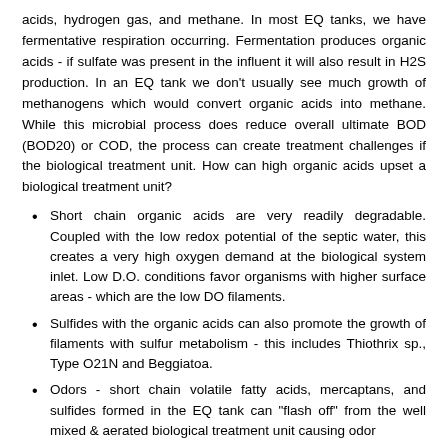acids, hydrogen gas, and methane. In most EQ tanks, we have fermentative respiration occurring. Fermentation produces organic acids - if sulfate was present in the influent it will also result in H2S production. In an EQ tank we don't usually see much growth of methanogens which would convert organic acids into methane. While this microbial process does reduce overall ultimate BOD (BOD20) or COD, the process can create treatment challenges if the biological treatment unit. How can high organic acids upset a biological treatment unit?
Short chain organic acids are very readily degradable. Coupled with the low redox potential of the septic water, this creates a very high oxygen demand at the biological system inlet. Low D.O. conditions favor organisms with higher surface areas - which are the low DO filaments.
Sulfides with the organic acids can also promote the growth of filaments with sulfur metabolism - this includes Thiothrix sp., Type O21N and Beggiatoa.
Odors - short chain volatile fatty acids, mercaptans, and sulfides formed in the EQ tank can "flash off" from the well mixed & aerated biological treatment unit causing odor